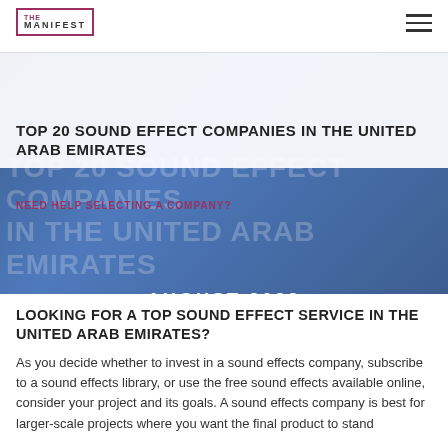THE MANIFEST
TOP 20 SOUND EFFECT COMPANIES IN THE UNITED ARAB EMIRATES
NEED HELP SELECTING A COMPANY?
[Figure (photo): Blue-tinted photo of sound equipment/mixing board with large ghost text overlay reading 'TOP 20 SOUND EFFECT COMPANIES IN THE UNITED ARAB EMIRATES' and 'AUGUST 2022' centered]
LOOKING FOR A TOP SOUND EFFECT SERVICE IN THE UNITED ARAB EMIRATES?
As you decide whether to invest in a sound effects company, subscribe to a sound effects library, or use the free sound effects available online, consider your project and its goals. A sound effects company is best for larger-scale projects where you want the final product to stand